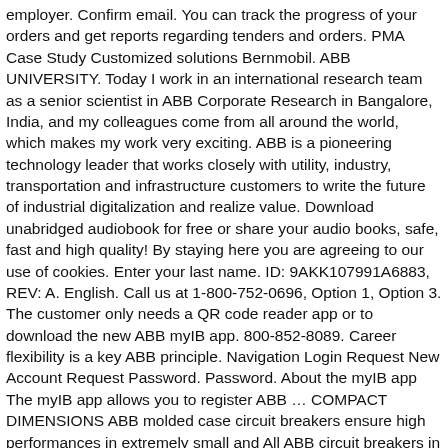employer. Confirm email. You can track the progress of your orders and get reports regarding tenders and orders. PMA Case Study Customized solutions Bernmobil. ABB UNIVERSITY. Today I work in an international research team as a senior scientist in ABB Corporate Research in Bangalore, India, and my colleagues come from all around the world, which makes my work very exciting. ABB is a pioneering technology leader that works closely with utility, industry, transportation and infrastructure customers to write the future of industrial digitalization and realize value. Download unabridged audiobook for free or share your audio books, safe, fast and high quality! By staying here you are agreeing to our use of cookies. Enter your last name. ID: 9AKK107991A6883, REV: A. English. Call us at 1-800-752-0696, Option 1, Option 3. The customer only needs a QR code reader app or to download the new ABB myIB app. 800-852-8089. Career flexibility is a key ABB principle. Navigation Login Request New Account Request Password. Password. About the myIB app The myIB app allows you to register ABB … COMPACT DIMENSIONS ABB molded case circuit breakers ensure high performances in extremely small and All ABB circuit breakers in accordance with the UL 489 and CSA C22.2 Standard can be used in installations with wye or delta distribution systems since use of the circuit breaker at 480 V AC is guaranteed, even for the smallest Tmax T1 size. Safe to get and share audio book here and downloading speed is great on AudioBook Bay (ABB)! For non-ABB